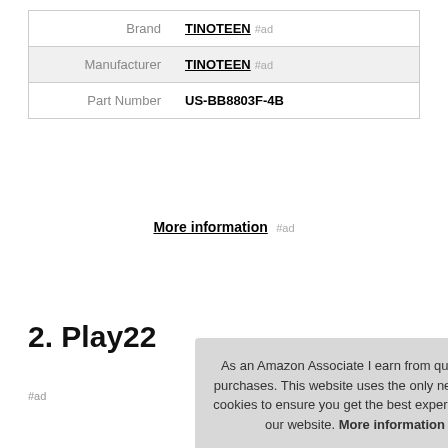|  |  |
| --- | --- |
| Brand | TINOTEEN #ad |
| Manufacturer | TINOTEEN #ad |
| Part Number | US-BB8803F-4B |
More information #ad
2. Play22
#ad
As an Amazon Associate I earn from qualifying purchases. This website uses the only necessary cookies to ensure you get the best experience on our website. More information